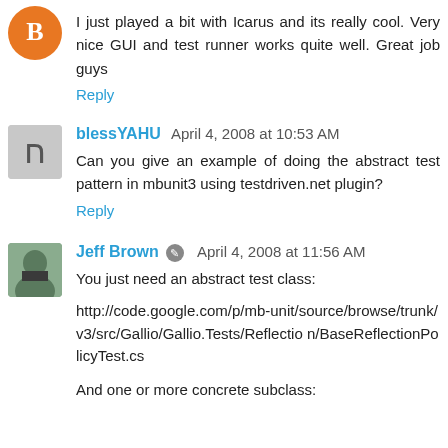I just played a bit with Icarus and its really cool. Very nice GUI and test runner works quite well. Great job guys
Reply
blessYAHU  April 4, 2008 at 10:53 AM
Can you give an example of doing the abstract test pattern in mbunit3 using testdriven.net plugin?
Reply
Jeff Brown  April 4, 2008 at 11:56 AM
You just need an abstract test class:
http://code.google.com/p/mb-unit/source/browse/trunk/v3/src/Gallio/Gallio.Tests/Reflection/BaseReflectionPolicyTest.cs
And one or more concrete subclass: